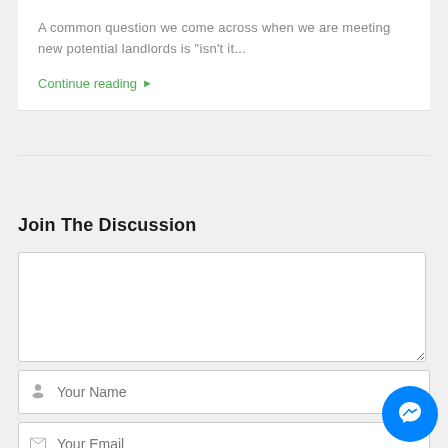A common question we come across when we are meeting new potential landlords is "isn't it...
Continue reading ▶
Join The Discussion
[Comment text area - empty]
Your Name
Your Email